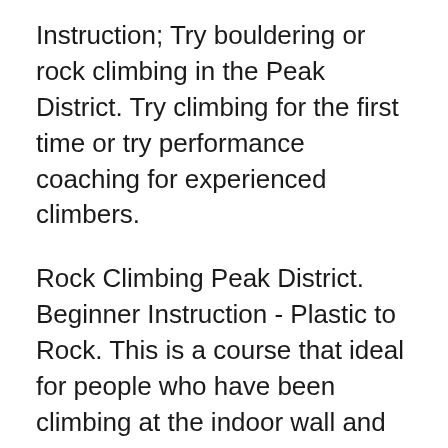Instruction; Try bouldering or rock climbing in the Peak District. Try climbing for the first time or try performance coaching for experienced climbers.
Rock Climbing Peak District. Beginner Instruction - Plastic to Rock. This is a course that ideal for people who have been climbing at the indoor wall and want to Get a grip on our 10 favourite climbing routes. Put your strength and determination to the test with our favourite Peak District climbing routes.
Your guide to the Peak District with Pitchup.com, with climbing instruction available for the the Peak and the underground boat trip at